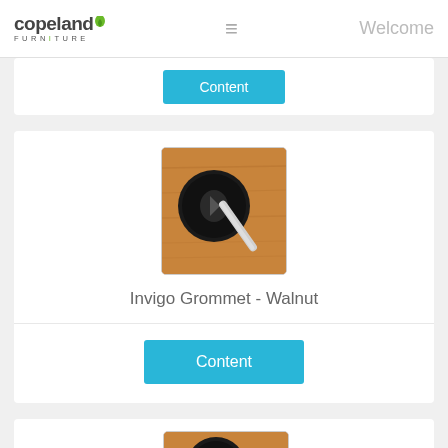Copeland Furniture — Welcome
[Figure (screenshot): Blue 'Content' button partial card at top]
[Figure (photo): Invigo Grommet in Walnut finish — black circular grommet on walnut wood surface with metal rod]
Invigo Grommet - Walnut
[Figure (screenshot): Blue 'Content' button]
[Figure (photo): Second product image — black circular grommet on walnut wood surface (partial, bottom of page)]